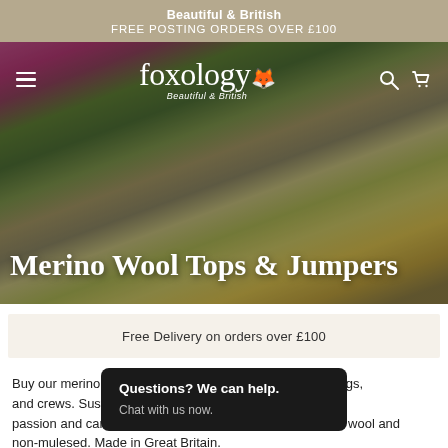Beautiful & British
FREE POSTING ORDERS OVER £100
[Figure (screenshot): Foxology website hero image showing a person in a pink merino wool top with a sheep mask, holding plants, with navigation bar overlay including hamburger menu, Foxology logo, search and cart icons]
Merino Wool Tops & Jumpers
Free Delivery on orders over £100
Buy our merino wool baselayers, shrugs, and crews. Sustainably created with love, passion and caring for our planet. 100% Superfine Merino wool and non-mulesed. Made in Great Britain.
Questions? We can help.
Chat with us now.